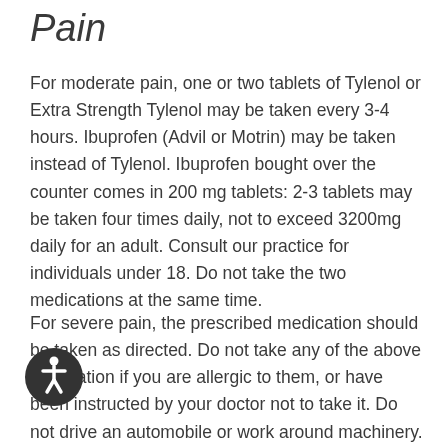Pain
For moderate pain, one or two tablets of Tylenol or Extra Strength Tylenol may be taken every 3-4 hours. Ibuprofen (Advil or Motrin) may be taken instead of Tylenol. Ibuprofen bought over the counter comes in 200 mg tablets: 2-3 tablets may be taken four times daily, not to exceed 3200mg daily for an adult. Consult our practice for individuals under 18. Do not take the two medications at the same time.
For severe pain, the prescribed medication should be taken as directed. Do not take any of the above medication if you are allergic to them, or have been instructed by your doctor not to take it. Do not drive an automobile or work around machinery. Avoid alcoholic